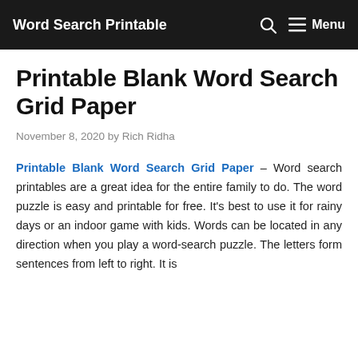Word Search Printable  Menu
Printable Blank Word Search Grid Paper
November 8, 2020 by Rich Ridha
Printable Blank Word Search Grid Paper – Word search printables are a great idea for the entire family to do. The word puzzle is easy and printable for free. It's best to use it for rainy days or an indoor game with kids. Words can be located in any direction when you play a word-search puzzle. The letters form sentences from left to right. It is